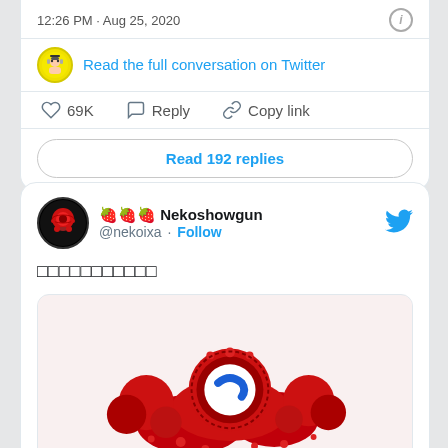12:26 PM · Aug 25, 2020
Read the full conversation on Twitter
69K  Reply  Copy link
Read 192 replies
🍓🍓🍓 Nekoshowgun @nekoixa · Follow
□□□□□□□□□□□
[Figure (illustration): Red decorative sculpture with round shapes, a central circle with white interior containing a blue curved arrow/check, surrounded by red blob-like forms on a white background.]